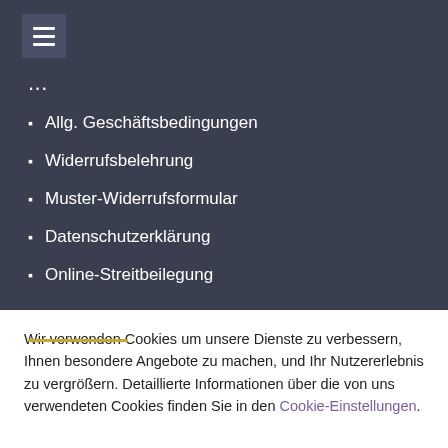[Figure (other): Hamburger menu icon with three horizontal lines on a dark square background]
...g...
Allg. Geschäftsbedingungen
Widerrufsbelehrung
Muster-Widerrufsformular
Datenschutzerklärung
Online-Streitbeilegung
SO ERREICHEN SIE UNS
Wir verwenden Cookies um unsere Dienste zu verbessern, Ihnen besondere Angebote zu machen, und Ihr Nutzererlebnis zu vergrößern. Detaillierte Informationen über die von uns verwendeten Cookies finden Sie in den Cookie-Einstellungen.